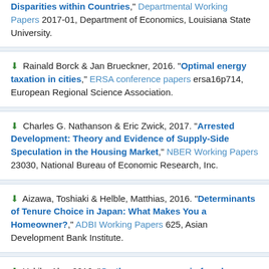[download icon] "Disparities within Countries," Departmental Working Papers 2017-01, Department of Economics, Louisiana State University.
[download icon] Rainald Borck & Jan Brueckner, 2016. "Optimal energy taxation in cities," ERSA conference papers ersa16p714, European Regional Science Association.
[download icon] Charles G. Nathanson & Eric Zwick, 2017. "Arrested Development: Theory and Evidence of Supply-Side Speculation in the Housing Market," NBER Working Papers 23030, National Bureau of Economic Research, Inc.
[download icon] Aizawa, Toshiaki & Helble, Matthias, 2016. "Determinants of Tenure Choice in Japan: What Makes You a Homeowner?," ADBI Working Papers 625, Asian Development Bank Institute.
[download icon] Yukiko Abe, 2016. "On the convergence in female